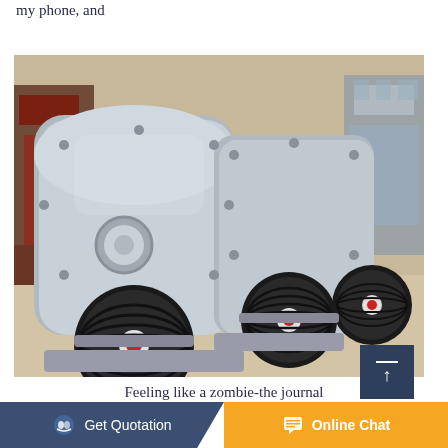my phone, and
[Figure (photo): Industrial hammer crusher / impact crusher machine, painted gray/silver with black rubber belt pulleys, photographed outdoors in a factory yard. Two large flywheel pulleys visible on the right side.]
Feeling like a zombie-the journal
Get Quotation    Online Chat